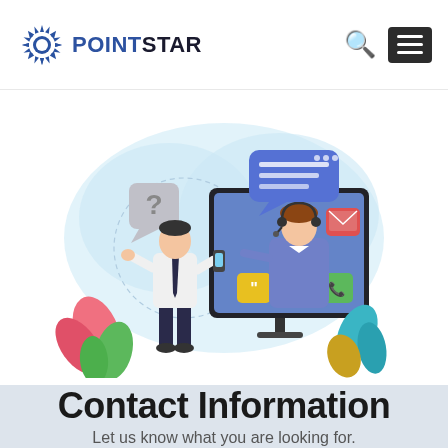POINTSTAR
[Figure (illustration): Customer support illustration: a man in a suit gesturing with a question mark speech bubble, and a female customer service representative wearing a headset displayed on a monitor screen, with chat bubbles and colorful app icons. Tropical leaves and floral decorations surround the scene on a light blue cloud-shaped background.]
Contact Information
Let us know what you are looking for.